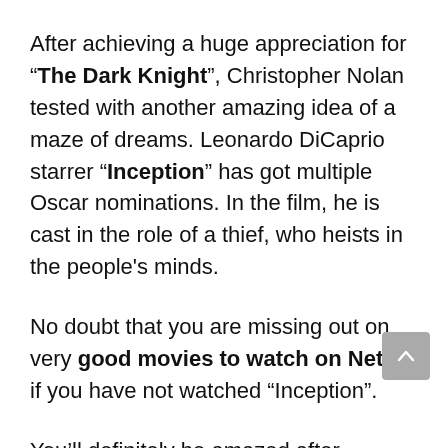After achieving a huge appreciation for "The Dark Knight", Christopher Nolan tested with another amazing idea of a maze of dreams. Leonardo DiCaprio starrer "Inception" has got multiple Oscar nominations. In the film, he is cast in the role of a thief, who heists in the people's minds.
No doubt that you are missing out on very good movies to watch on Netflix if you have not watched "Inception".
You'll definitely be amazed after watching